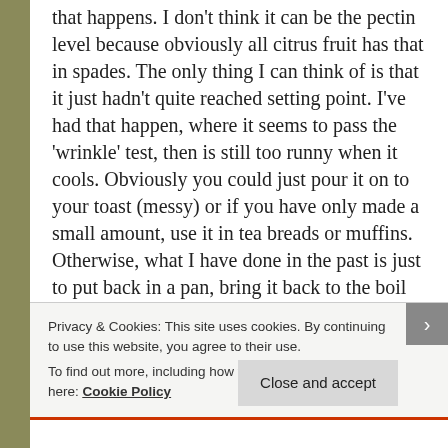that happens. I don't think it can be the pectin level because obviously all citrus fruit has that in spades. The only thing I can think of is that it just hadn't quite reached setting point. I've had that happen, where it seems to pass the 'wrinkle' test, then is still too runny when it cools. Obviously you could just pour it on to your toast (messy) or if you have only made a small amount, use it in tea breads or muffins. Otherwise, what I have done in the past is just to put back in a pan, bring it back to the boil over a medium heat, then turn up the heat and boil rapidly for three or four minutes and test again, repeating if necessary, the put it back in the pots. Other good
Privacy & Cookies: This site uses cookies. By continuing to use this website, you agree to their use.
To find out more, including how to control cookies, see here: Cookie Policy